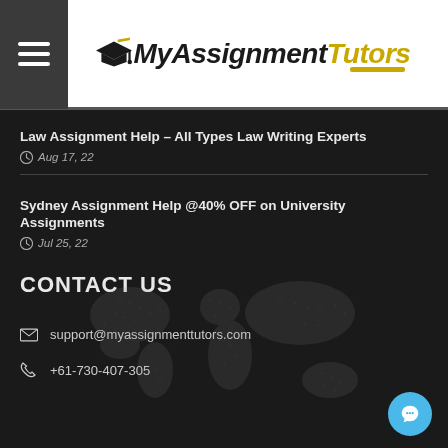[Figure (logo): MyAssignmentTutors logo with graduation cap icon and stylized text, 'My' and 'Assignment' in dark/black italic, 'Tutors' in gold/yellow italic]
Law Assignment Help – All Types Law Writing Experts
Aug 17, 22
Sydney Assignment Help @40% OFF on University Assignments
Jul 25, 22
CONTACT US
support@myassignmenttutors.com
+61-730-407-305